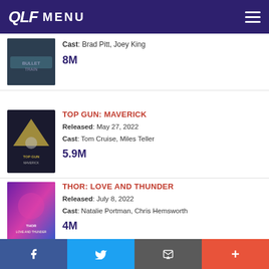QLF MENU
Cast: Brad Pitt, Joey King | 8M
TOP GUN: MAVERICK | Released: May 27, 2022 | Cast: Tom Cruise, Miles Teller | 5.9M
THOR: LOVE AND THUNDER | Released: July 8, 2022 | Cast: Natalie Portman, Chris Hemsworth | 4M
NOPE | Released: July 22, 2022 | Cast: Daniel Kaluuya, Keke Palmer | 3.6M
MINIONS: THE RISE OF GRU
f | Twitter | Email | +